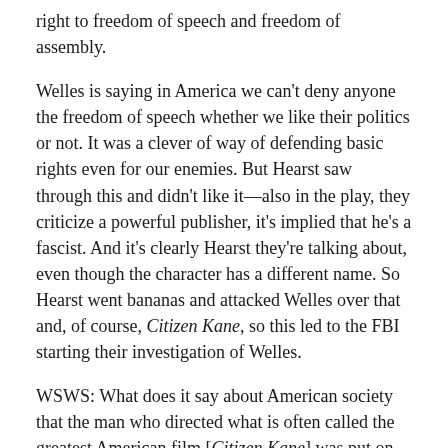right to freedom of speech and freedom of assembly.
Welles is saying in America we can't deny anyone the freedom of speech whether we like their politics or not. It was a clever of way of defending basic rights even for our enemies. But Hearst saw through this and didn't like it—also in the play, they criticize a powerful publisher, it's implied that he's a fascist. And it's clearly Hearst they're talking about, even though the character has a different name. So Hearst went bananas and attacked Welles over that and, of course, Citizen Kane, so this led to the FBI starting their investigation of Welles.
WSWS: What does it say about American society that the man who directed what is often called the greatest American film [Citizen Kane] was put on the Custodial Detention Index, an FBI list of people to be interned in case of a national emergency?